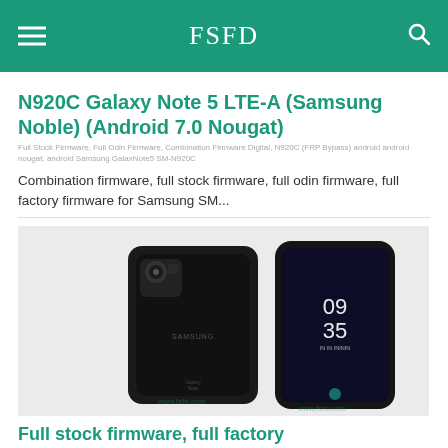FSFD
N920C Galaxy Note 5 LTE-A (Samsung Noble) (Android 7.0 Nougat)
Full Stock Firmware, Full Odin Firmware, Combination Firmware Digital, N920C (FRP Bypass) android android nougat, android Samsung GalaxNote5 SM-N920C
Combination firmware, full stock firmware, full odin firmware, full factory firmware for Samsung SM...
[Figure (photo): Two Samsung Galaxy Note smartphones shown from the back and front, both in black, displayed side by side on a light grey background. The front phone shows 09:35 on the screen. A watermark is visible at the bottom.]
Full stock firmware, full factory